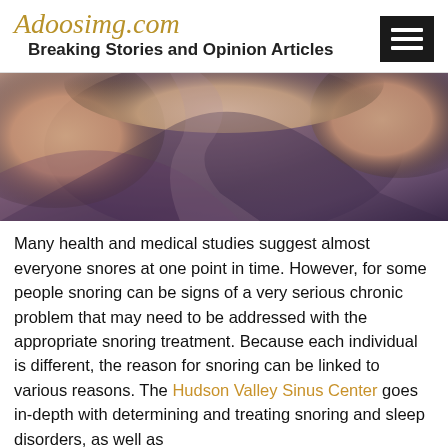Adoosimg.com — Breaking Stories and Opinion Articles
[Figure (photo): Close-up photo of a person sleeping, showing hands/arms and mauve/purple bedding or clothing]
Many health and medical studies suggest almost everyone snores at one point in time. However, for some people snoring can be signs of a very serious chronic problem that may need to be addressed with the appropriate snoring treatment. Because each individual is different, the reason for snoring can be linked to various reasons. The Hudson Valley Sinus Center goes in-depth with determining and treating snoring and sleep disorders, as well as